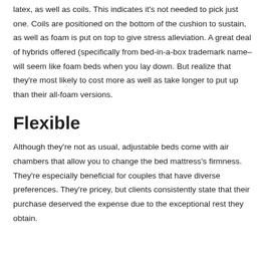latex, as well as coils. This indicates it's not needed to pick just one. Coils are positioned on the bottom of the cushion to sustain, as well as foam is put on top to give stress alleviation. A great deal of hybrids offered (specifically from bed-in-a-box trademark name– will seem like foam beds when you lay down. But realize that they're most likely to cost more as well as take longer to put up than their all-foam versions.
Flexible
Although they're not as usual, adjustable beds come with air chambers that allow you to change the bed mattress's firmness. They're especially beneficial for couples that have diverse preferences. They're pricey, but clients consistently state that their purchase deserved the expense due to the exceptional rest they obtain.